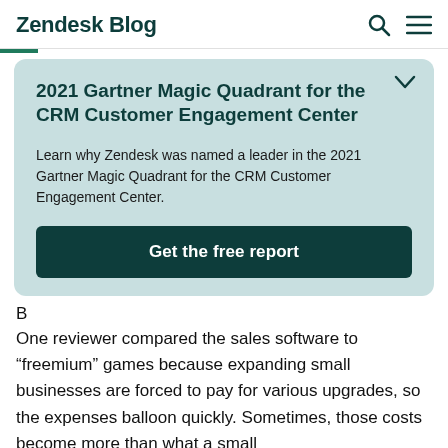Zendesk Blog
2021 Gartner Magic Quadrant for the CRM Customer Engagement Center
Learn why Zendesk was named a leader in the 2021 Gartner Magic Quadrant for the CRM Customer Engagement Center.
Get the free report
B
One reviewer compared the sales software to “freemium” games because expanding small businesses are forced to pay for various upgrades, so the expenses balloon quickly. Sometimes, those costs become more than what a small